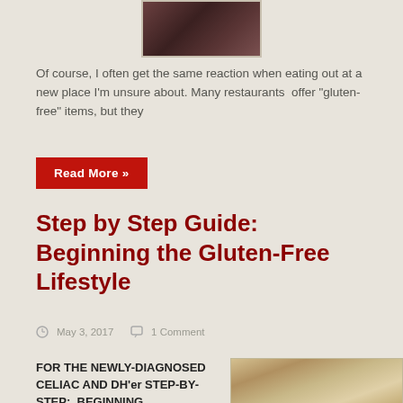[Figure (photo): Partial photo of a person, cropped at top of page]
Of course, I often get the same reaction when eating out at a new place I'm unsure about. Many restaurants  offer "gluten-free" items, but they
Read More »
Step by Step Guide: Beginning the Gluten-Free Lifestyle
May 3, 2017   1 Comment
FOR THE NEWLY-DIAGNOSED CELIAC AND DH'er STEP-BY-STEP:  BEGINNING
[Figure (photo): Portrait photo of a person, partially visible at bottom right]